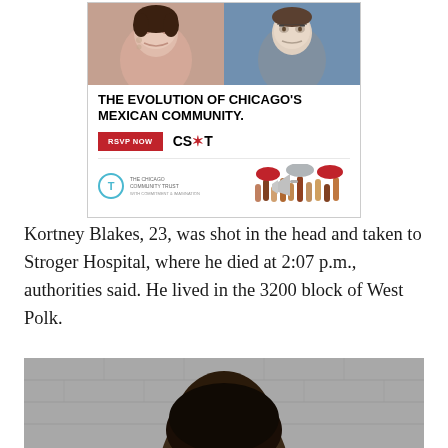[Figure (photo): Advertisement banner for Chicago Community Trust event about the evolution of Chicago's Mexican community, featuring two portrait photos (a woman and a man), a red RSVP NOW button, CS*T logo, The Chicago Community Trust logo, and an illustration of raised hands holding signs.]
Kortney Blakes, 23, was shot in the head and taken to Stroger Hospital, where he died at 2:07 p.m., authorities said. He lived in the 3200 block of West Polk.
[Figure (photo): Mugshot-style photograph of a person with dark hair against a gray concrete block wall background.]